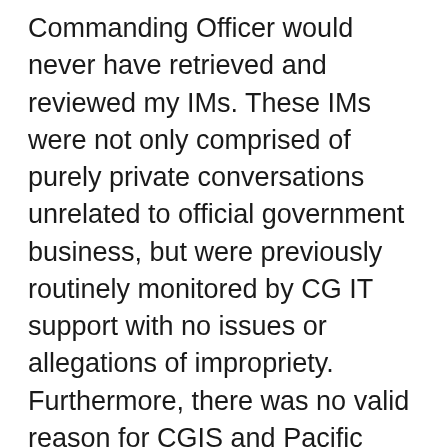Commanding Officer would never have retrieved and reviewed my IMs. These IMs were not only comprised of purely private conversations unrelated to official government business, but were previously routinely monitored by CG IT support with no issues or allegations of impropriety. Furthermore, there was no valid reason for CGIS and Pacific Area to make me the target of investigations I had requested in the first place. These IMs unlawfully reviewed without probable cause in many cases not only fell outside the reporting period for the OER, but also included protected communications with the Base Chaplains Office, Work-Life/HSWL staff,